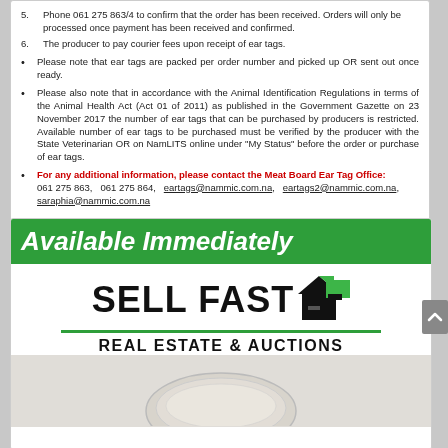5. Phone 061 275 863/4 to confirm that the order has been received. Orders will only be processed once payment has been received and confirmed.
6. The producer to pay courier fees upon receipt of ear tags.
Please note that ear tags are packed per order number and picked up OR sent out once ready.
Please also note that in accordance with the Animal Identification Regulations in terms of the Animal Health Act (Act 01 of 2011) as published in the Government Gazette on 23 November 2017 the number of ear tags that can be purchased by producers is restricted. Available number of ear tags to be purchased must be verified by the producer with the State Veterinarian OR on NamLITS online under "My Status" before the order or purchase of ear tags.
For any additional information, please contact the Meat Board Ear Tag Office: 061 275 863, 061 275 864, eartags@nammic.com.na, eartags2@nammic.com.na, saraphia@nammic.com.na
[Figure (logo): Sell Fast Real Estate & Auctions advertisement with green header 'Available Immediately', logo with house icon, green divider line, and circular image at bottom]